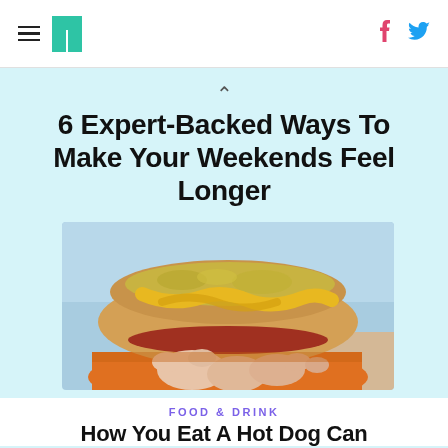HuffPost navigation with hamburger menu, logo, Facebook and Twitter icons
6 Expert-Backed Ways To Make Your Weekends Feel Longer
[Figure (photo): Close-up photo of a hand holding a hot dog in a bun with mustard, sauerkraut, and toppings, wrapped in orange paper, against a blurry beach background]
FOOD & DRINK
How You Eat A Hot Dog Can